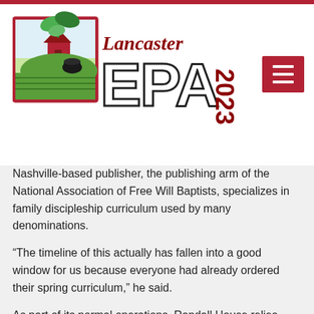[Figure (logo): Lancaster EPA 2023 logo with farm/nature imagery, red border square with green plant graphic, large EPA letters and 2023 in dark red]
Nashville-based publisher, the publishing arm of the National Association of Free Will Baptists, specializes in family discipleship curriculum used by many denominations.
“The timeline of this actually has fallen into a good window for us because everyone had already ordered their spring curriculum,” he said.
As part of its normal operations, Randall House relies heavily on its website, Facebook, Twitter and their own D6 Family app.
“Being a small company, we can move pretty quickly,” Conn said